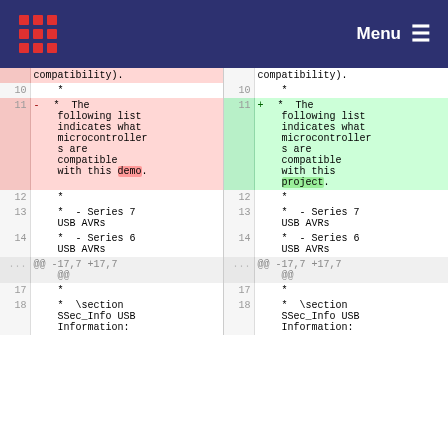Menu
| line-left | content-left | line-right | content-right |
| --- | --- | --- | --- |
| 10 | * | 10 | * |
| 11 | - * The following list indicates what microcontrollers are compatible with this demo. | 11 | + * The following list indicates what microcontrollers are compatible with this project. |
| 12 | * | 12 | * |
| 13 | * - Series 7 USB AVRs | 13 | * - Series 7 USB AVRs |
| 14 | * - Series 6 USB AVRs | 14 | * - Series 6 USB AVRs |
| ... | @@ -17,7 +17,7 @@ | ... | @@ -17,7 +17,7 @@ |
| 17 | * | 17 | * |
| 18 | * \section SSec_Info USB Information: | 18 | * \section SSec_Info USB Information: |